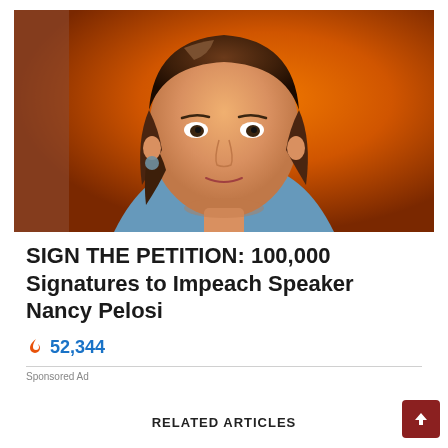[Figure (photo): Photo of Nancy Pelosi, a woman with brown shoulder-length hair, wearing a blue blazer, against an orange background]
SIGN THE PETITION: 100,000 Signatures to Impeach Speaker Nancy Pelosi
🔥 52,344
Sponsored Ad
RELATED ARTICLES